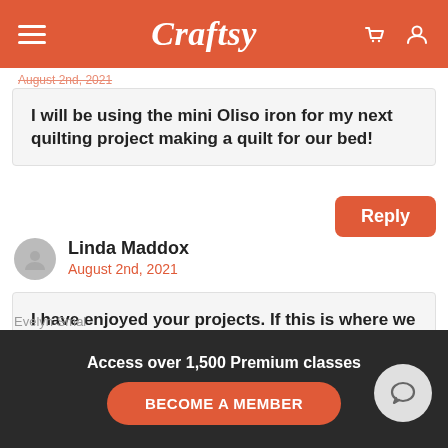Craftsy
August 2nd, 2021
I will be using the mini Oliso iron for my next quilting project making a quilt for our bed!
Reply
Linda Maddox
August 2nd, 2021
I have enjoyed your projects. If this is where we sign up for a chance to win a mini oilso iron . Had a large one that die on me this past week. Would love to win this.
Thank you
Access over 1,500 Premium classes
BECOME A MEMBER
Evelyn Smal